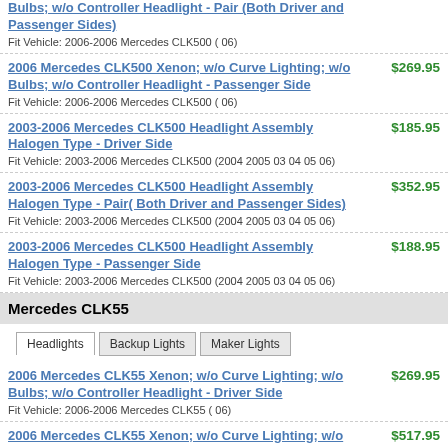Bulbs; w/o Controller Headlight - Pair (Both Driver and Passenger Sides)
Fit Vehicle: 2006-2006 Mercedes CLK500 ( 06)
2006 Mercedes CLK500 Xenon; w/o Curve Lighting; w/o Bulbs; w/o Controller Headlight - Passenger Side
Fit Vehicle: 2006-2006 Mercedes CLK500 ( 06)
$269.95
2003-2006 Mercedes CLK500 Headlight Assembly Halogen Type - Driver Side
Fit Vehicle: 2003-2006 Mercedes CLK500 (2004 2005 03 04 05 06)
$185.95
2003-2006 Mercedes CLK500 Headlight Assembly Halogen Type - Pair( Both Driver and Passenger Sides)
Fit Vehicle: 2003-2006 Mercedes CLK500 (2004 2005 03 04 05 06)
$352.95
2003-2006 Mercedes CLK500 Headlight Assembly Halogen Type - Passenger Side
Fit Vehicle: 2003-2006 Mercedes CLK500 (2004 2005 03 04 05 06)
$188.95
Mercedes CLK55
2006 Mercedes CLK55 Xenon; w/o Curve Lighting; w/o Bulbs; w/o Controller Headlight - Driver Side
Fit Vehicle: 2006-2006 Mercedes CLK55 ( 06)
$269.95
2006 Mercedes CLK55 Xenon; w/o Curve Lighting; w/o Bulbs; w/o Controller Headlight - Pair (Both Driver and Passenger Sides)
Fit Vehicle: 2006-2006 Mercedes CLK55 ( 06)
$517.95
2006 Mercedes CLK55 Xenon; w/o Curve Lighting; w/o
$269.95